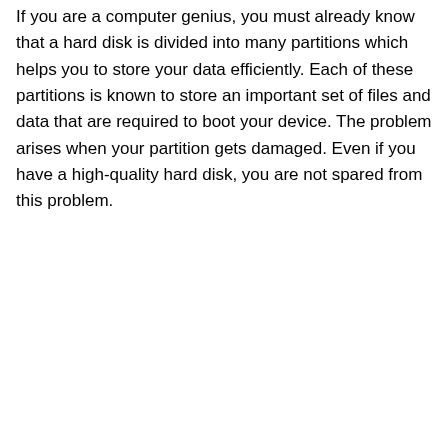If you are a computer genius, you must already know that a hard disk is divided into many partitions which helps you to store your data efficiently. Each of these partitions is known to store an important set of files and data that are required to boot your device. The problem arises when your partition gets damaged. Even if you have a high-quality hard disk, you are not spared from this problem.